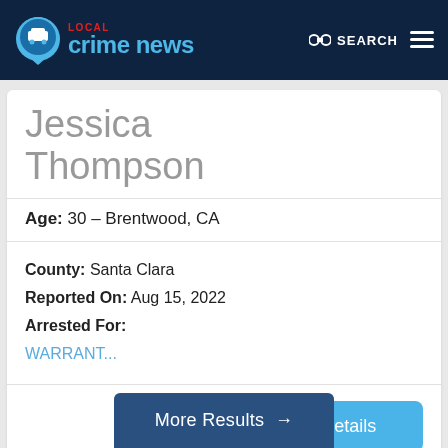Local Crime News — SEARCH
Jessica Thompson
Age: 30 – Brentwood, CA
County: Santa Clara
Reported On: Aug 15, 2022
Arrested For:
WARRANT...
View Arrest Details
More Results →